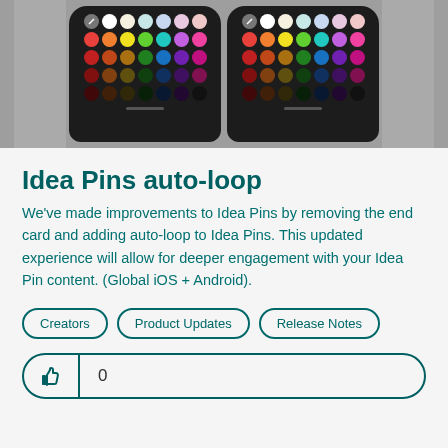[Figure (screenshot): Two smartphone screenshots showing a color palette picker UI with rows of colored circles on a dark background, displayed against a gray background.]
Idea Pins auto-loop
We've made improvements to Idea Pins by removing the end card and adding auto-loop to Idea Pins. This updated experience will allow for deeper engagement with your Idea Pin content. (Global iOS + Android).
Creators
Product Updates
Release Notes
0